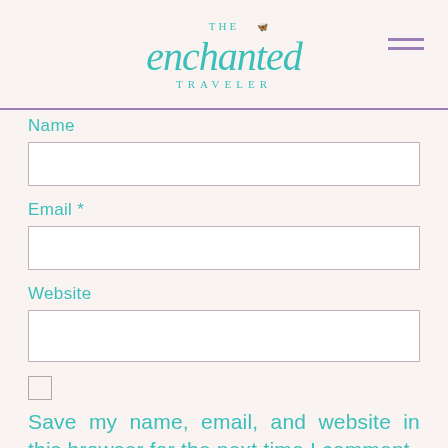THE enchanted TRAVELER
Name
Email *
Website
Save my name, email, and website in this browser for the next time I comment.